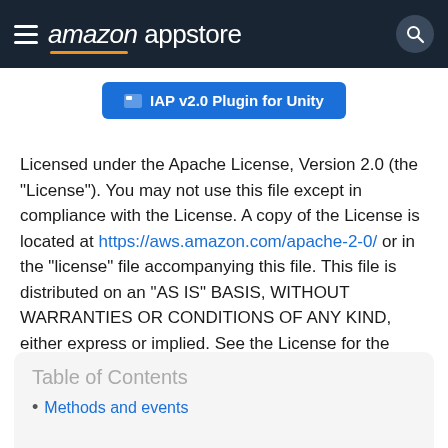amazon appstore
IAP v2.0 Plugin for Unity
Licensed under the Apache License, Version 2.0 (the "License"). You may not use this file except in compliance with the License. A copy of the License is located at https://aws.amazon.com/apache-2-0/ or in the "license" file accompanying this file. This file is distributed on an "AS IS" BASIS, WITHOUT WARRANTIES OR CONDITIONS OF ANY KIND, either express or implied. See the License for the specific language governing permissions and limitations under the License.
Table of Contents
Methods and events